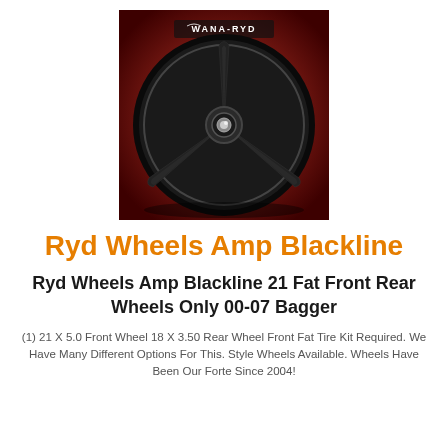[Figure (photo): Black Ryd Wheels Amp Blackline motorcycle wheel with 3 spokes on a red background, with WANA-RYD logo at top]
Ryd Wheels Amp Blackline
Ryd Wheels Amp Blackline 21 Fat Front Rear Wheels Only 00-07 Bagger
(1) 21 X 5.0 Front Wheel 18 X 3.50 Rear Wheel Front Fat Tire Kit Required. We Have Many Different Options For This. Style Wheels Available. Wheels Have Been Our Forte Since 2004!